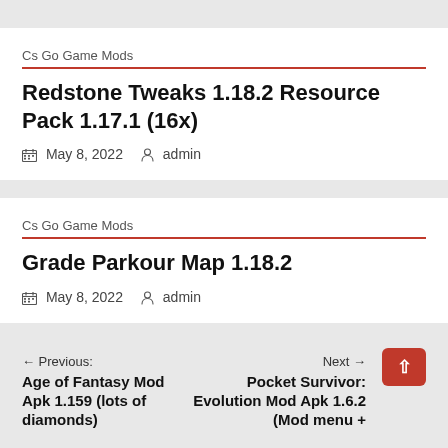Cs Go Game Mods
Redstone Tweaks 1.18.2 Resource Pack 1.17.1 (16x)
May 8, 2022   admin
Cs Go Game Mods
Grade Parkour Map 1.18.2
May 8, 2022   admin
← Previous: Age of Fantasy Mod Apk 1.159 (lots of diamonds)   Next →: Pocket Survivor: Evolution Mod Apk 1.6.2 (Mod menu +